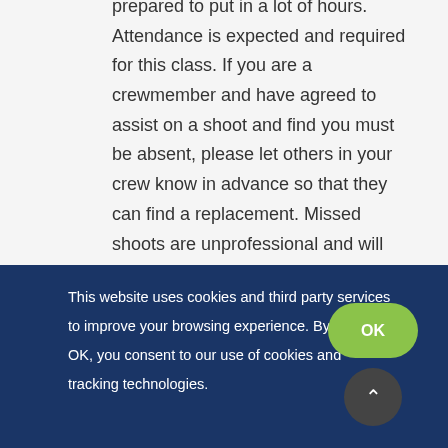prepared to put in a lot of hours. Attendance is expected and required for this class. If you are a crewmember and have agreed to assist on a shoot and find you must be absent, please let others in your crew know in advance so that they can find a replacement. Missed shoots are unprofessional and will not be tolerated. It is your responsibility to keep in contact with me if you will miss class. Evaluation of Finished Projects: Any film production can be evaluated on the basis of the
This website uses cookies and third party services to improve your browsing experience. By clicking OK, you consent to our use of cookies and tracking technologies.